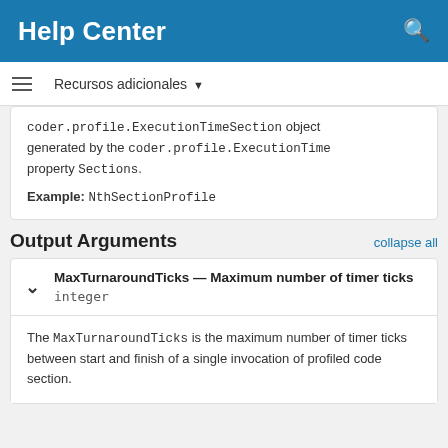Help Center
Recursos adicionales ▼
coder.profile.ExecutionTimeSection object generated by the coder.profile.ExecutionTime property Sections.

Example: NthSectionProfile
Output Arguments
collapse all
MaxTurnaroundTicks — Maximum number of timer ticks
integer
The MaxTurnaroundTicks is the maximum number of timer ticks between start and finish of a single invocation of profiled code section.